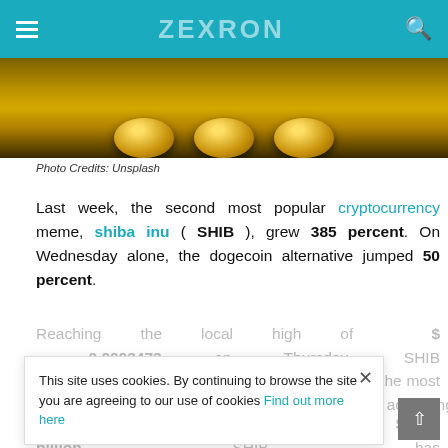ZEXRON
[Figure (photo): Close-up of gold cryptocurrency coins on a dark surface]
Photo Credits: Unsplash
Last week, the second most popular cryptocurrency meme, shiba inu ( SHIB ), grew 385 percent. On Wednesday alone, the dogecoin alternative jumped 50 percent.
Reaching the local high of $ 0.0003473 on Thursday, SHIB reached a high 12th place in the ranking of the most valuable cryptocurrencies by market capitalization, according to CoinGecko.
With a market capitalization of nearly $ 14 billion, SHIB has switched Chainlink, Litecoin, Avalanche, and Uniswap